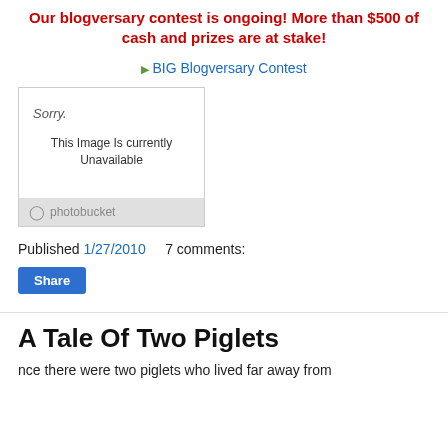Our blogversary contest is ongoing! More than $500 of cash and prizes are at stake!
BIG Blogversary Contest
[Figure (screenshot): Photobucket image unavailable placeholder box showing 'Sorry. This Image Is currently Unavailable' with Photobucket logo at bottom]
Published 1/27/2010    7 comments:
Share
A Tale Of Two Piglets
nce there were two piglets who lived far away from